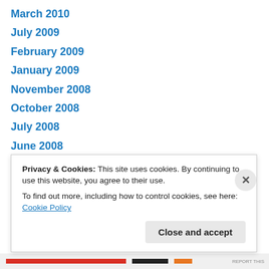March 2010
July 2009
February 2009
January 2009
November 2008
October 2008
July 2008
June 2008
April 2008
March 2008
February 2008
January 2008
October 2007
Privacy & Cookies: This site uses cookies. By continuing to use this website, you agree to their use. To find out more, including how to control cookies, see here: Cookie Policy
Close and accept